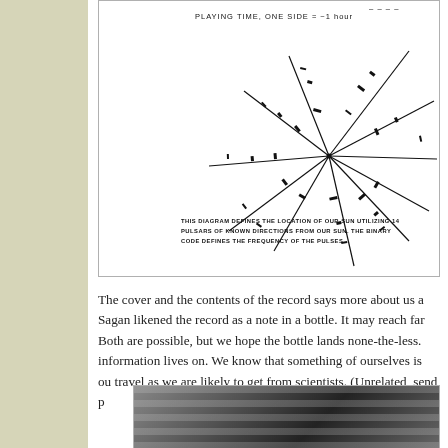[Figure (schematic): Pulsar map diagram from the Voyager Golden Record cover. Shows lines radiating from a central point representing the Sun's location relative to 14 known pulsars. Binary codes along the lines define pulse frequencies. Label at top reads 'PLAYING TIME, ONE SIDE = ~1 hour'. Caption text within diagram: 'THIS DIAGRAM DEFINES THE LOCATION OF OUR SUN UTILIZING 14 PULSARS OF KNOWN DIRECTIONS FROM OUR SUN. THE BINARY CODE DEFINES THE FREQUENCY OF THE PULSES.']
The cover and the contents of the record says more about us a Sagan likened the record as a note in a bottle. It may reach far Both are possible, but we hope the bottle lands none-the-less. information lives on. We know that something of ourselves is ou travel as we are likely to get from scientists. (Unrelated, send p
[Figure (photo): Photograph showing what appears to be a record or disk partially visible, with horizontal elements suggesting a shelf or case. Dark background with lighter horizontal strips.]